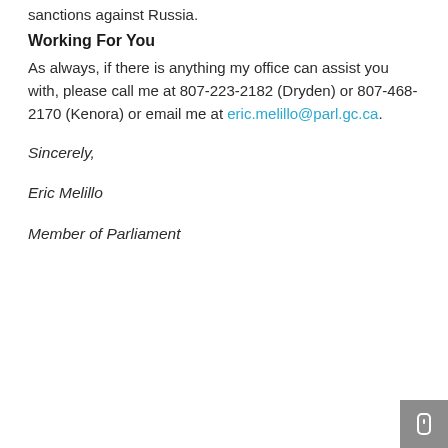sanctions against Russia.
Working For You
As always, if there is anything my office can assist you with, please call me at 807-223-2182 (Dryden) or 807-468-2170 (Kenora) or email me at eric.melillo@parl.gc.ca.
Sincerely,
Eric Melillo
Member of Parliament